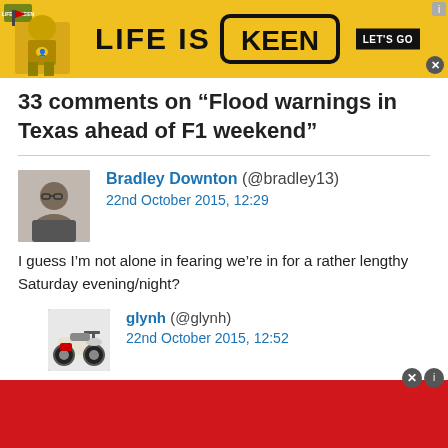[Figure (screenshot): Yellow LIFE IS KEEN advertisement banner with character illustration and LET'S GO button]
33 comments on “Flood warnings in Texas ahead of F1 weekend”
Bradley Downton (@bradley13)
22nd October 2015, 12:29
I guess I’m not alone in fearing we’re in for a rather lengthy Saturday evening/night?
glynh (@glynh)
22nd October 2015, 12:52
[Figure (screenshot): Red advertisement banner at the bottom of the page]